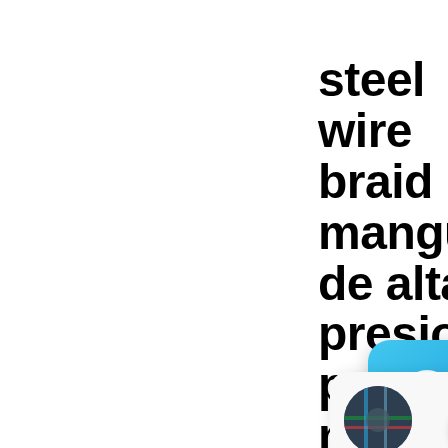steel wire braid mangueras de alta presion para lp manufactur...
[Figure (screenshot): A screenshot of a web page showing a title about steel wire braid high pressure hoses, with a chat application overlay (blue chat bubble icon with a close button), a scroll-to-top red circular button with chevron arrows, and a card popup with an avatar image and partial text 'Utilice Mang De Phoen Para La']